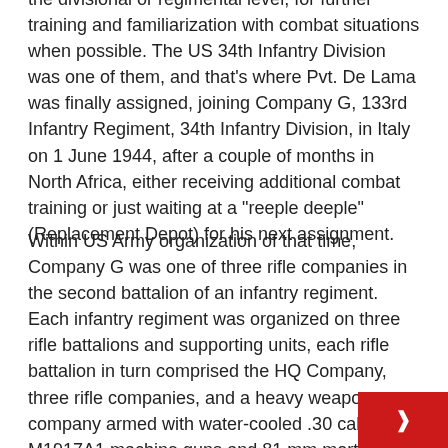the divisional or regimental level, for further training and familiarization with combat situations when possible. The US 34th Infantry Division was one of them, and that’s where Pvt. De Lama was finally assigned, joining Company G, 133rd Infantry Regiment, 34th Infantry Division, in Italy on 1 June 1944, after a couple of months in North Africa, either receiving additional combat training or just waiting at a “reeple deeple” (Replacement Depot) for his next assignment.
Within US Army organization of that time, Company G was one of three rifle companies in the second battalion of an infantry regiment. Each infantry regiment was organized on three rifle battalions and supporting units, each rifle battalion in turn comprised the HQ Company, three rifle companies, and a heavy weapons company armed with water-cooled .30 cal. M1917A1 machine guns and 81 mm mortars. Other supporting weapons, such as .50 M2HB machine guns and 2.36” rocket launchers